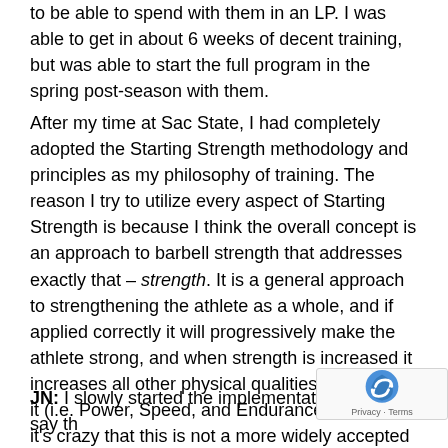to be able to spend with them in an LP. I was able to get in about 6 weeks of decent training, but was able to start the full program in the spring post-season with them.
After my time at Sac State, I had completely adopted the Starting Strength methodology and principles as my philosophy of training. The reason I try to utilize every aspect of Starting Strength is because I think the overall concept is an approach to barbell strength that addresses exactly that – strength. It is a general approach to strengthening the athlete as a whole, and if applied correctly it will progressively make the athlete strong, and when strength is increased it increases all other physical qualities that go with it (i.e. Power, Speed, and Endurance). To me, it's crazy that this is not a more widely accepted model in strength training.
JN: I slowly started the implementation. I will say th...